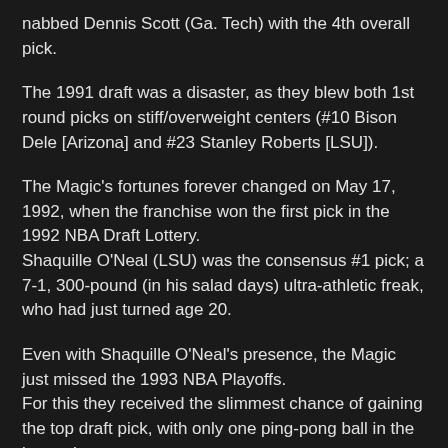nabbed Dennis Scott (Ga. Tech) with the 4th overall pick.
The 1991 draft was a disaster, as they blew both 1st round picks on stiff/overweight centers (#10 Bison Dele [Arizona] and #23 Stanley Roberts [LSU]).
The Magic's fortunes forever changed on May 17, 1992, when the franchise won the first pick in the 1992 NBA Draft Lottery. Shaquille O'Neal (LSU) was the consensus #1 pick; a 7-1, 300-pound (in his salad days) ultra-athletic freak, who had just turned age 20.
Even with Shaquille O'Neal's presence, the Magic just missed the 1993 NBA Playoffs. For this they received the slimmest chance of gaining the top draft pick, with only one ping-pong ball in the lottery hopper. Miraculously, the Magic again won the first pick and selected the correct player–Chris Webber (Michigan), whom they immediately traded to Golden State for the #3